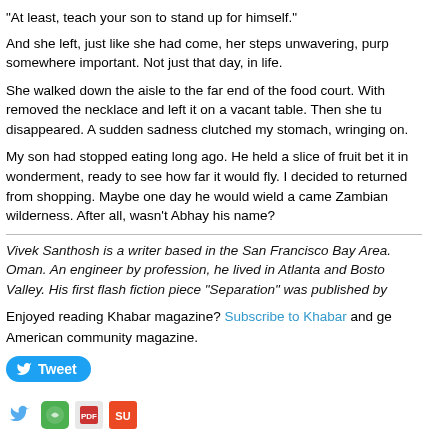“At least, teach your son to stand up for himself.”
And she left, just like she had come, her steps unwavering, purp somewhere important. Not just that day, in life.
She walked down the aisle to the far end of the food court. With removed the necklace and left it on a vacant table. Then she tu disappeared. A sudden sadness clutched my stomach, wringing on.
My son had stopped eating long ago. He held a slice of fruit bet it in wonderment, ready to see how far it would fly. I decided to returned from shopping. Maybe one day he would wield a came Zambian wilderness. After all, wasn’t Abhay his name?
Vivek Santhosh is a writer based in the San Francisco Bay Area. Oman. An engineer by profession, he lived in Atlanta and Bosto Valley. His first flash fiction piece “Separation” was published by
Enjoyed reading Khabar magazine? Subscribe to Khabar and ge American community magazine.
[Figure (other): Tweet button (Twitter share button, rounded blue pill shape with bird icon and text 'Tweet')]
[Figure (other): Social sharing icons: Twitter bird icon, green phone/WhatsApp icon, Adobe PDF icon, StumbleUpon icon]